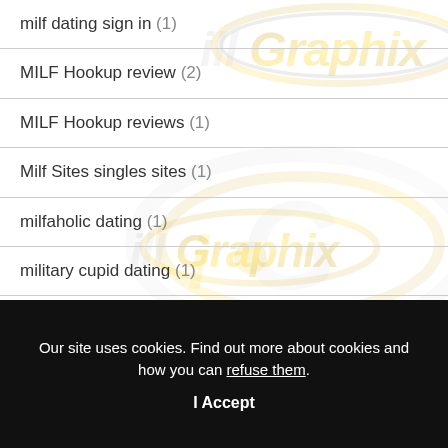milf dating sign in (1)
MILF Hookup review (2)
MILF Hookup reviews (1)
Milf Sites singles sites (1)
milfaholic dating (1)
military cupid dating (1)
[Figure (logo): iGraphix watermark logo repeated in background — silver and gold orbital design with text 'iGraphix']
Our site uses cookies. Find out more about cookies and how you can refuse them.
I Accept